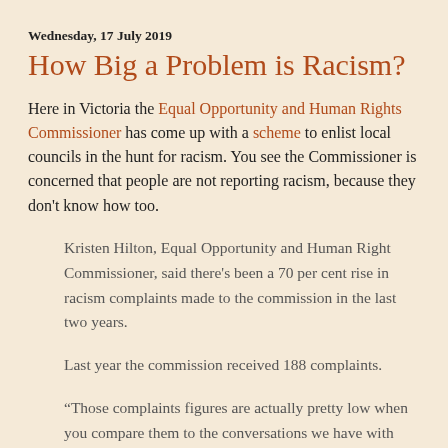Wednesday, 17 July 2019
How Big a Problem is Racism?
Here in Victoria the Equal Opportunity and Human Rights Commissioner has come up with a scheme to enlist local councils in the hunt for racism. You see the Commissioner is concerned that people are not reporting racism, because they don't know how too.
Kristen Hilton, Equal Opportunity and Human Right Commissioner, said there’s been a 70 per cent rise in racism complaints made to the commission in the last two years.
Last year the commission received 188 complaints.
“Those complaints figures are actually pretty low when you compare them to the conversations we have with communities that are affected by racism,” Ms Hilton said.